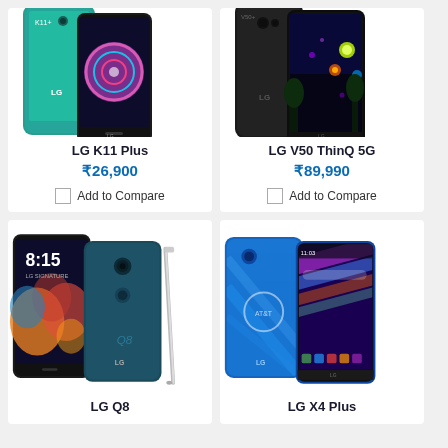[Figure (photo): LG K11 Plus smartphone product image showing front and back]
LG K11 Plus
₹26,900
Add to Compare
[Figure (photo): LG V50 ThinQ 5G smartphone product image showing front and back]
LG V50 ThinQ 5G
₹89,990
Add to Compare
[Figure (photo): LG Q8 smartphone product image showing front and back with stylus]
LG Q8
[Figure (photo): LG X4 Plus smartphone product image showing front and back]
LG X4 Plus